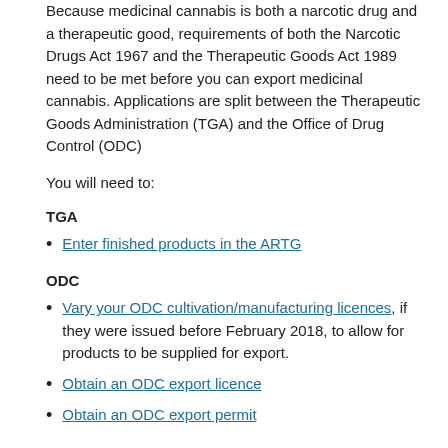Because medicinal cannabis is both a narcotic drug and a therapeutic good, requirements of both the Narcotic Drugs Act 1967 and the Therapeutic Goods Act 1989 need to be met before you can export medicinal cannabis. Applications are split between the Therapeutic Goods Administration (TGA) and the Office of Drug Control (ODC)
You will need to:
TGA
Enter finished products in the ARTG
ODC
Vary your ODC cultivation/manufacturing licences, if they were issued before February 2018, to allow for products to be supplied for export.
Obtain an ODC export licence
Obtain an ODC export permit
ARTG entry of finished products
Medicinal cannabis products that are finished products and are intended to be exported from Australia for commercial supply must first be entered in the